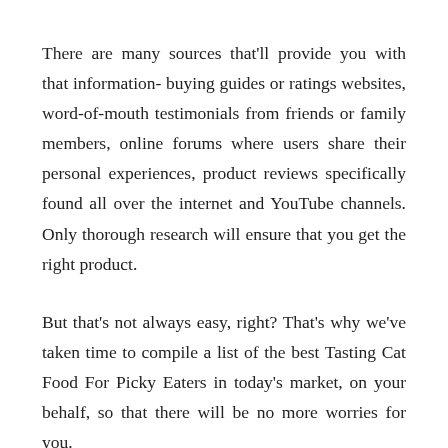There are many sources that'll provide you with that information- buying guides or ratings websites, word-of-mouth testimonials from friends or family members, online forums where users share their personal experiences, product reviews specifically found all over the internet and YouTube channels. Only thorough research will ensure that you get the right product.
But that's not always easy, right? That's why we've taken time to compile a list of the best Tasting Cat Food For Picky Eaters in today's market, on your behalf, so that there will be no more worries for you.